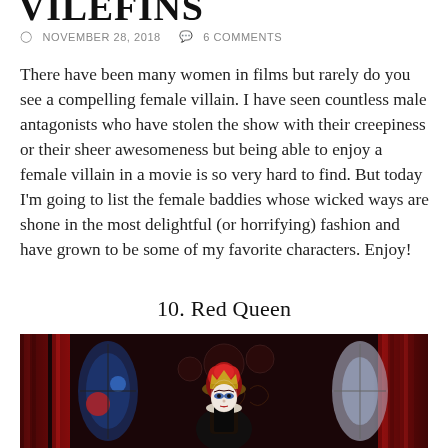VILEFINS
NOVEMBER 28, 2018   6 COMMENTS
There have been many women in films but rarely do you see a compelling female villain. I have seen countless male antagonists who have stolen the show with their creepiness or their sheer awesomeness but being able to enjoy a female villain in a movie is so very hard to find. But today I'm going to list the female baddies whose wicked ways are shone in the most delightful (or horrifying) fashion and have grown to be some of my favorite characters. Enjoy!
10. Red Queen
[Figure (photo): Movie still of the Red Queen character from Alice in Wonderland, wearing ornate costume with red hair, in a gothic hall with red pillars and stained glass windows]